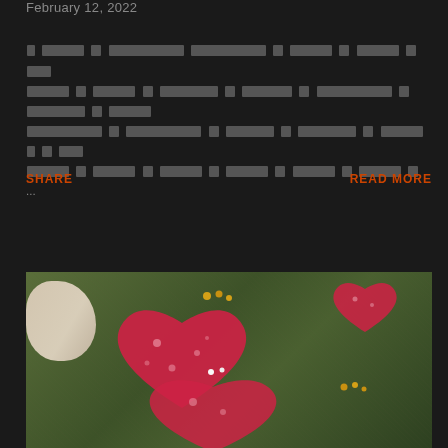February 12, 2022
[redacted text block - blog post excerpt in non-Latin script]
SHARE    READ MORE
[Figure (photo): Red heart-shaped fabric/felt pieces decorated with white floral patterns, placed on dark green pine branches with small yellow and white flowers, on a burlap/natural texture background]